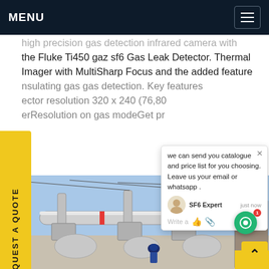MENU
high precision gas detection infrared camera with the Fluke Ti450 gaz sf6 Gas Leak Detector. Thermal Imager with MultiSharp Focus and the added feature insulating gas gas detection. Key features ector resolution 320 x 240 (76,80 erResolution on gas modeGet pr
[Figure (photo): Electrical substation with large pipes, transformers, and a worker in blue helmet standing in foreground. Outdoor industrial setting with clear sky.]
we can send you catalogue and price list for you choosing.
Leave us your email or whatsapp .
SF6 Expert   just now
Write a